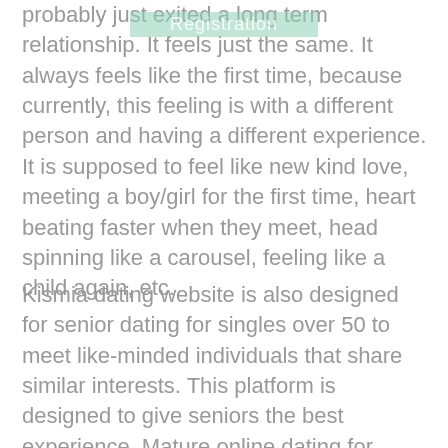probably just exited a long term relationship. It feels just the same. It always feels like the first time, because currently, this feeling is with a different person and having a different experience. It is supposed to feel like new kind love, meeting a boy/girl for the first time, heart beating faster when they meet, head spinning like a carousel, feeling like a child again, etc.
Kismia dating website is also designed for senior dating for singles over 50 to meet like-minded individuals that share similar interests. This platform is designed to give seniors the best experience. Mature online dating for senior singles 50 plus can still be a fun and exciting new experience just like when they were younger. Now they're more mature,